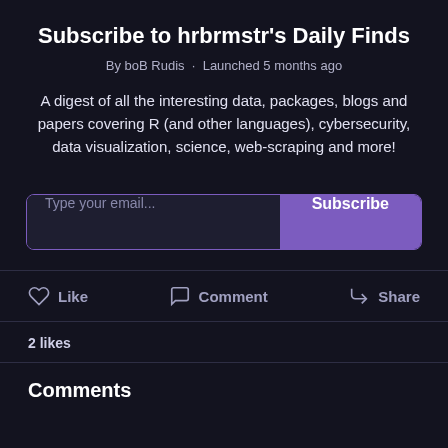Subscribe to hrbrmstr's Daily Finds
By boB Rudis · Launched 5 months ago
A digest of all the interesting data, packages, blogs and papers covering R (and other languages), cybersecurity, data visualization, science, web-scraping and more!
Type your email... Subscribe
Like   Comment   Share
2 likes
Comments